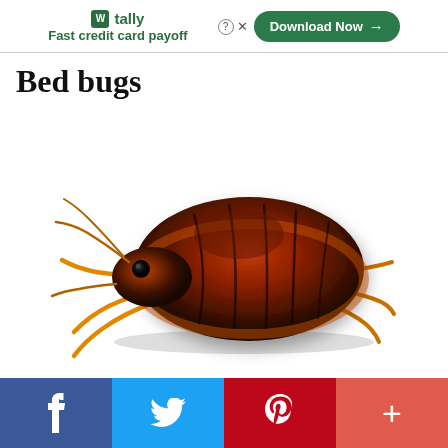[Figure (other): Advertisement banner for Tally: Fast credit card payoff app with Download Now button]
Bed bugs
[Figure (photo): Close-up photo of a bed bug (Cimex lectularius) shown from the side against a white background, with reddish-brown segmented body, six orange/amber legs, and small head with antennae]
[Figure (other): Social media sharing bar with Facebook, Twitter, Pinterest, and More (+) buttons]